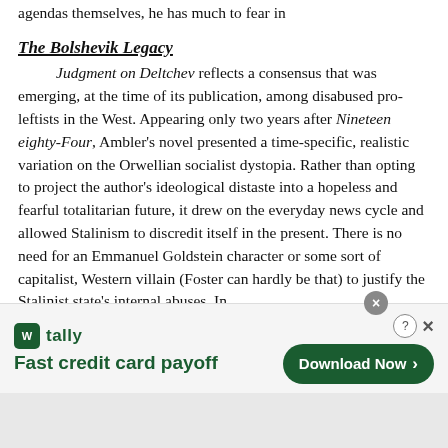agendas themselves, he has much to fear in
The Bolshevik Legacy
Judgment on Deltchev reflects a consensus that was emerging, at the time of its publication, among disabused pro-leftists in the West. Appearing only two years after Nineteen eighty-Four, Ambler's novel presented a time-specific, realistic variation on the Orwellian socialist dystopia. Rather than opting to project the author's ideological distaste into a hopeless and fearful totalitarian future, it drew on the everyday news cycle and allowed Stalinism to discredit itself in the present. There is no need for an Emmanuel Goldstein character or some sort of capitalist, Western villain (Foster can hardly be that) to justify the Stalinist state's internal abuses. In
[Figure (other): Advertisement banner for Tally app: 'Fast credit card payoff' with Download Now button]